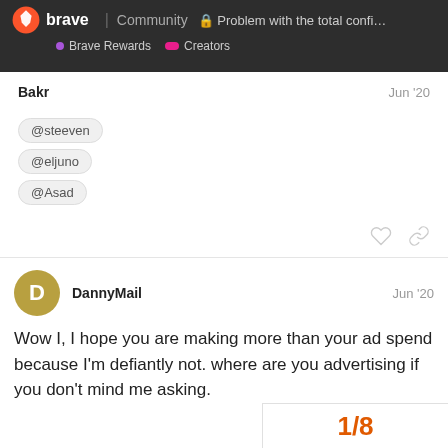brave Community | Problem with the total confi... | Brave Rewards  Creators
Bakr
Jun '20
@steeven
@eljuno
@Asad
DannyMail
Jun '20
Wow I, I hope you are making more than your ad spend because I'm defiantly not. where are you advertising if you don't mind me asking.
1/8